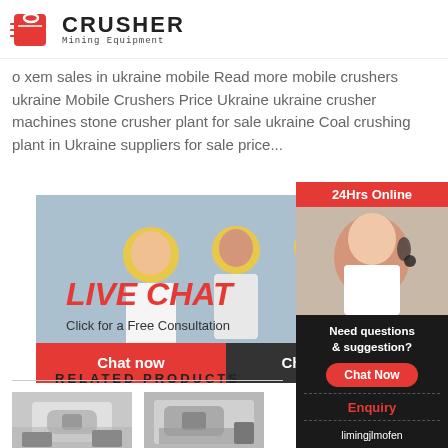[Figure (logo): Crusher Mining Equipment logo with red shopping bag icon and bold CRUSHER text]
o xem sales in ukraine mobile Read more mobile crushers ukraine Mobile Crushers Price Ukraine ukraine crusher machines stone crusher plant for sale ukraine Coal crushing plant in Ukraine suppliers for sale price...
[Figure (infographic): Live chat banner with workers in hard hats, 24Hrs Online badge, LIVE CHAT heading, Click for a Free Consultation text, Chat now and Chat later buttons]
[Figure (infographic): Right sidebar with customer service representative, Need questions & suggestion text, Chat Now button, Enquiry section, limingjlmofen@sina.com email]
RELATED PRODUCTS
[Figure (photo): Industrial crusher machine - white/grey heavy machinery]
[Figure (photo): Industrial crusher machine - factory equipment]